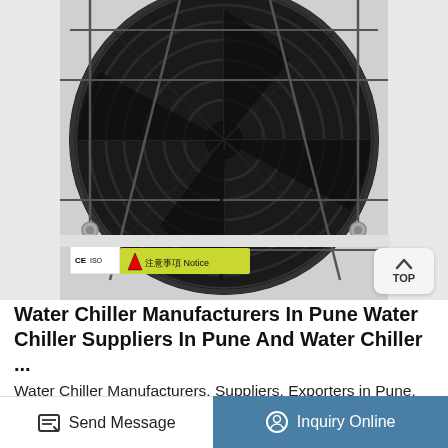[Figure (photo): Close-up photo of a water chiller unit showing a large black axial fan with protective metal guard, CE and ISO certification labels, and a yellow warning notice label reading '注意事項 Notice'. A 'TOP' button is visible in the bottom-right corner of the image.]
Water Chiller Manufacturers In Pune Water Chiller Suppliers In Pune And Water Chiller ...
Water Chiller Manufacturers, Suppliers, Exporters in Pune, Maharashtra from ALFA CHILL TECHNOLOGY and we are the leading manufacturer in the cooling industry. We are also the best water chiller
Send Message   Inquiry Online